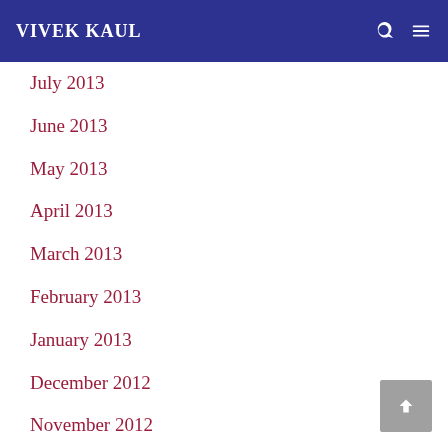VIVEK KAUL
July 2013
June 2013
May 2013
April 2013
March 2013
February 2013
January 2013
December 2012
November 2012
October 2012
September 2012
August 2012
July 2012